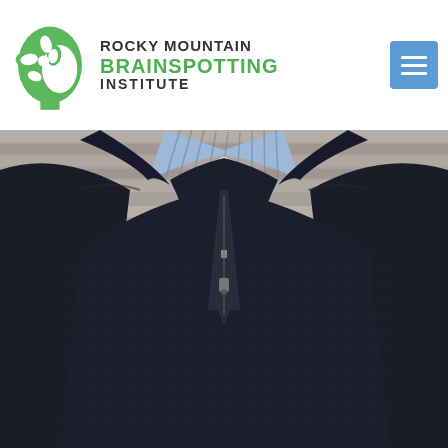[Figure (logo): Rocky Mountain BrainSpotting Institute logo: green brain/flower icon on left, text on right reading ROCKY MOUNTAIN in dark gray, BRAINSPOTTING in green bold, INSTITUTE in dark gray]
[Figure (other): Hamburger/menu button icon in blue-gray square in top right corner]
[Figure (photo): Close-up photo of a person from neck/chin down wearing a navy blue quarter-zip waffle-knit sweater over a light blue striped collared shirt, with a wooden plank wall in the background]